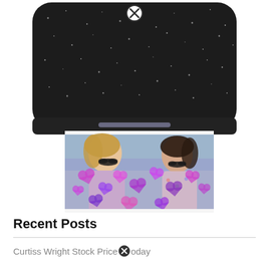[Figure (photo): A black speckled portable photo printer with a printed photo coming out of the slot. The printed photo shows two young women with fake moustaches holding photo booth props, decorated with purple and pink heart stickers/overlays.]
Recent Posts
Curtiss Wright Stock Price Today